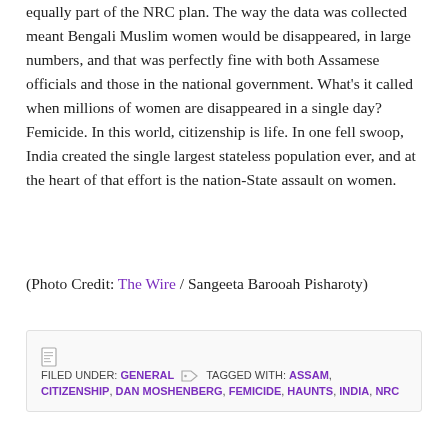equally part of the NRC plan. The way the data was collected meant Bengali Muslim women would be disappeared, in large numbers, and that was perfectly fine with both Assamese officials and those in the national government. What's it called when millions of women are disappeared in a single day? Femicide. In this world, citizenship is life. In one fell swoop, India created the single largest stateless population ever, and at the heart of that effort is the nation-State assault on women.
(Photo Credit: The Wire / Sangeeta Barooah Pisharoty)
FILED UNDER: GENERAL   TAGGED WITH: ASSAM, CITIZENSHIP, DAN MOSHENBERG, FEMICIDE, HAUNTS, INDIA, NRC